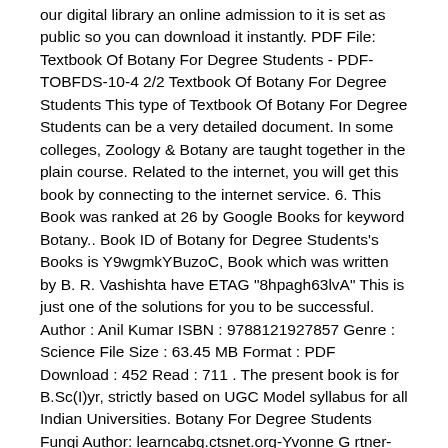our digital library an online admission to it is set as public so you can download it instantly. PDF File: Textbook Of Botany For Degree Students - PDF-TOBFDS-10-4 2/2 Textbook Of Botany For Degree Students This type of Textbook Of Botany For Degree Students can be a very detailed document. In some colleges, Zoology & Botany are taught together in the plain course. Related to the internet, you will get this book by connecting to the internet service. 6. This Book was ranked at 26 by Google Books for keyword Botany.. Book ID of Botany for Degree Students's Books is Y9wgmkYBuzoC, Book which was written by B. R. Vashishta have ETAG "8hpagh63lvA" This is just one of the solutions for you to be successful. Author : Anil Kumar ISBN : 9788121927857 Genre : Science File Size : 63.45 MB Format : PDF Download : 452 Read : 711 . The present book is for B.Sc(I)yr, strictly based on UGC Model syllabus for all Indian Universities. Botany For Degree Students Fungi Author: learncabg.ctsnet.org-Yvonne G rtner-2020-11-01-08-09-57 Subject: Botany For Degree Students Fungi Keywords: botany,for,degree,students,fungi Created Date: 11/1/2020 8:09:57 AM Sometimes, this way will make you feel confuse, this is not a site to purchase book and then deliver the book